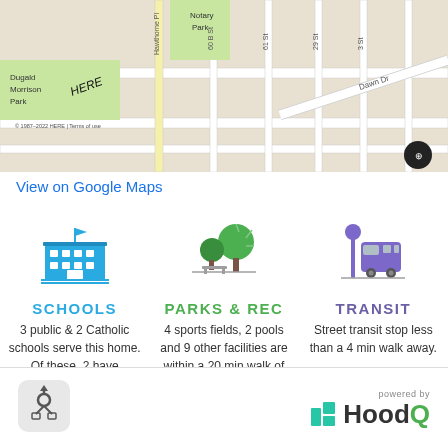[Figure (map): Street map showing Dugald Morrison Park, Notary Park, Dawn Dr, with street labels including Hawthorne Pl, 60 B St, 61 St, 29 St, 3 St, and a 200m scale bar. Copyright 1987-2022 HERE | Terms of use.]
View on Google Maps
[Figure (illustration): Blue school building icon with flag on top]
SCHOOLS
3 public & 2 Catholic schools serve this home. Of these, 2 have catchments. There are 2 private schools nearby.
[Figure (illustration): Green park icon with trees and bench]
PARKS & REC
4 sports fields, 2 pools and 9 other facilities are within a 20 min walk of this home.
[Figure (illustration): Purple/blue bus transit stop icon with bus and sign]
TRANSIT
Street transit stop less than a 4 min walk away.
[Figure (logo): HoodQ logo with powered by text and teal H icon]